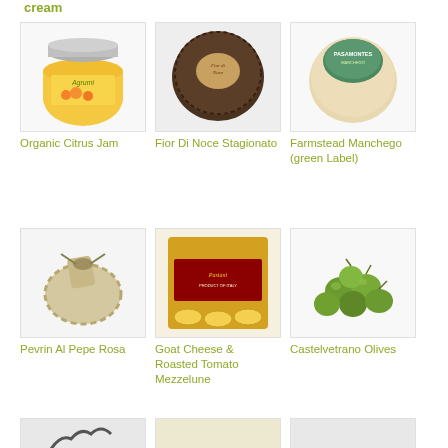cream
[Figure (photo): Jar of Agrumi orange jam product]
Organic Citrus Jam
[Figure (photo): Dark round cheese wheel - Fior Di Noce Stagionato]
Fior Di Noce Stagionato
[Figure (photo): Round white cheese wheel with green label - Farmstead Manchego]
Farmstead Manchego (green Label)
[Figure (photo): Wrapped cheese with herbs - Pevrin Al Pepe Rosa]
Pevrin Al Pepe Rosa
[Figure (photo): Pasta package - Goat Cheese and Roasted Tomato Mezzelune]
Goat Cheese & Roasted Tomato Mezzelune
[Figure (photo): Green olives - Castelvetrano Olives]
Castelvetrano Olives
[Figure (photo): Partial product image row 3 item 1]
[Figure (photo): Partial product image row 3 item 2]
[Figure (photo): Partial product image row 3 item 3]